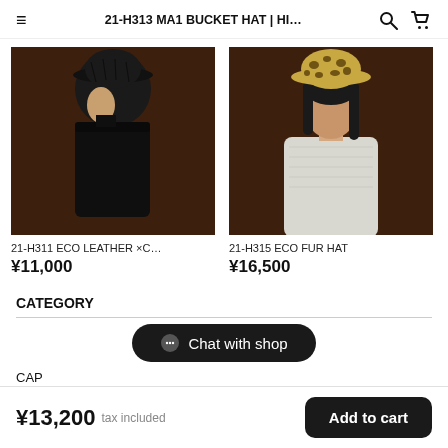21-H313 MA1 BUCKET HAT | HI…
[Figure (photo): Male model in profile wearing a black quilted leather bucket hat and black outfit against a dark brown background]
[Figure (photo): Female model in profile wearing a leopard print fur bucket hat and light gray textured jacket against a dark brown background]
21-H311 ECO LEATHER ×C…
¥11,000
21-H315 ECO FUR HAT
¥16,500
CATEGORY
Chat with shop
CAP
¥13,200 tax included  Add to cart